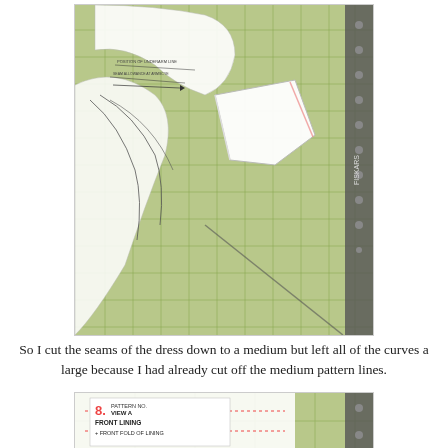[Figure (photo): Photo of sewing pattern pieces laid on a green self-healing cutting mat (Fiskars brand). White paper pattern pieces are visible with printed lines and text. A folded piece of fabric or pattern paper is visible in the center-right. The mat shows grid lines.]
So I cut the seams of the dress down to a medium but left all of the curves a large because I had already cut off the medium pattern lines.
[Figure (photo): Partial photo of another sewing pattern piece on a green Fiskars cutting mat. The pattern piece is labeled '8. VIEW A FRONT LINING' and mentions 'FRONT FOLD OF LINING'. Red dotted lines are visible on the pattern. The mat grid is visible in the background.]